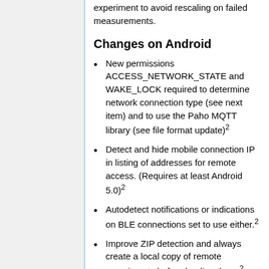experiment to avoid rescaling on failed measurements.
Changes on Android
New permissions ACCESS_NETWORK_STATE and WAKE_LOCK required to determine network connection type (see next item) and to use the Paho MQTT library (see file format update)²
Detect and hide mobile connection IP in listing of addresses for remote access. (Requires at least Android 5.0)²
Autodetect notifications or indications on BLE connections set to use either.²
Improve ZIP detection and always create a local copy of remote experiments before loading them.²